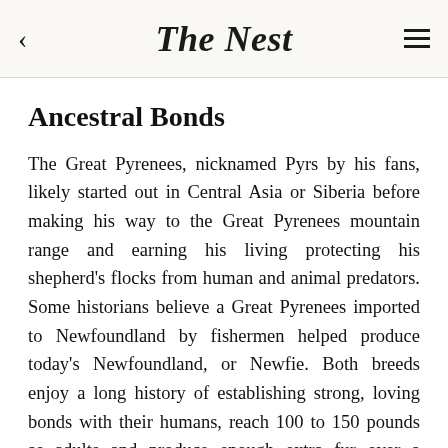The Nest
Ancestral Bonds
The Great Pyrenees, nicknamed Pyrs by his fans, likely started out in Central Asia or Siberia before making his way to the Great Pyrenees mountain range and earning his living protecting his shepherd's flocks from human and animal predators. Some historians believe a Great Pyrenees imported to Newfoundland by fishermen helped produce today's Newfoundland, or Newfie. Both breeds enjoy a long history of establishing strong, loving bonds with their humans, reach 100 to 150 pounds as adults and produce enough extra fur over a lifetime to stuff a couch should the need